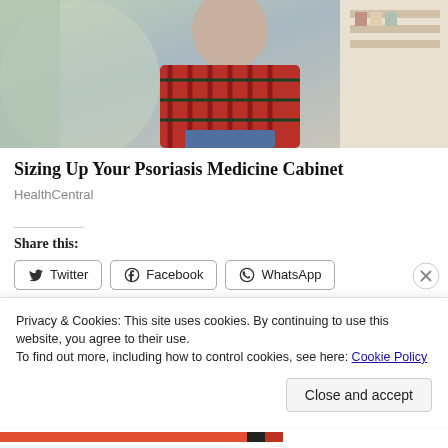[Figure (photo): Photo of a person in a red plaid shirt sitting at what appears to be a pharmacy or store with shelves in background]
Sizing Up Your Psoriasis Medicine Cabinet
HealthCentral
Share this:
[Figure (screenshot): Social share buttons: Twitter, Facebook, WhatsApp]
[Figure (screenshot): Like button with star icon and avatar strip showing multiple user profile photos]
Privacy & Cookies: This site uses cookies. By continuing to use this website, you agree to their use.
To find out more, including how to control cookies, see here: Cookie Policy